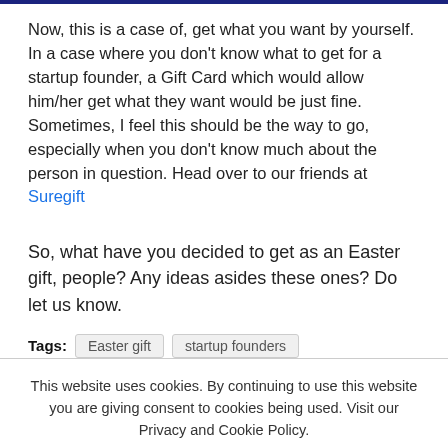Now, this is a case of, get what you want by yourself. In a case where you don't know what to get for a startup founder, a Gift Card which would allow him/her get what they want would be just fine. Sometimes, I feel this should be the way to go, especially when you don't know much about the person in question. Head over to our friends at Suregift
So, what have you decided to get as an Easter gift, people? Any ideas asides these ones? Do let us know.
Tags: Easter gift  startup founders
This website uses cookies. By continuing to use this website you are giving consent to cookies being used. Visit our Privacy and Cookie Policy.